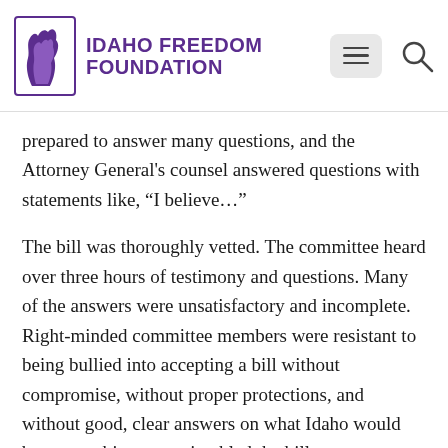Idaho Freedom Foundation
prepared to answer many questions, and the Attorney General's counsel answered questions with statements like, “I believe…”
The bill was thoroughly vetted. The committee heard over three hours of testimony and questions. Many of the answers were unsatisfactory and incomplete. Right-minded committee members were resistant to being bullied into accepting a bill without compromise, without proper protections, and without good, clear answers on what Idaho would become subject to, so it tabled the bill.
Yes, the feds threatened to pull the money ($46 million). However, those threats are rarely enforced (no states have lost funding). Fortunately, Idaho’s